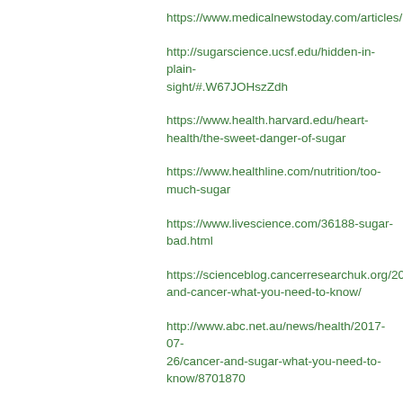https://www.medicalnewstoday.com/articles/...
http://sugarscience.ucsf.edu/hidden-in-plain-sight/#.W67JOHszZdh
https://www.health.harvard.edu/heart-health/the-sweet-danger-of-sugar
https://www.healthline.com/nutrition/too-much-sugar
https://www.livescience.com/36188-sugar-bad.html
https://scienceblog.cancerresearchuk.org/20... and-cancer-what-you-need-to-know/
http://www.abc.net.au/news/health/2017-07-26/cancer-and-sugar-what-you-need-to-know/8701870
https://www.atkins.com/how-it-...